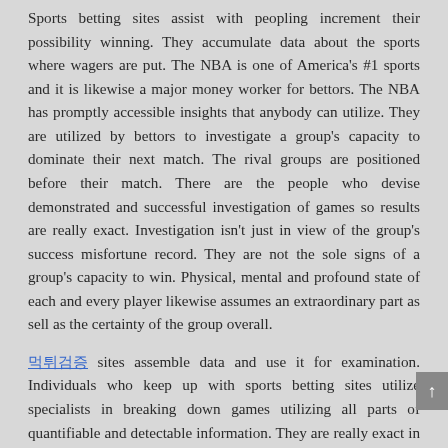Sports betting sites assist with peopling increment their possibility winning. They accumulate data about the sports where wagers are put. The NBA is one of America's #1 sports and it is likewise a major money worker for bettors. The NBA has promptly accessible insights that anybody can utilize. They are utilized by bettors to investigate a group's capacity to dominate their next match. The rival groups are positioned before their match. There are the people who devise demonstrated and successful investigation of games so results are really exact. Investigation isn't just in view of the group's success misfortune record. They are not the sole signs of a group's capacity to win. Physical, mental and profound state of each and every player likewise assumes an extraordinary part as sell as the certainty of the group overall.
[link] sites assemble data and use it for examination. Individuals who keep up with sports betting sites utilize specialists in breaking down games utilizing all parts of quantifiable and detectable information. They are really exact in their forecasts. They keep up with rankings in their sites that...